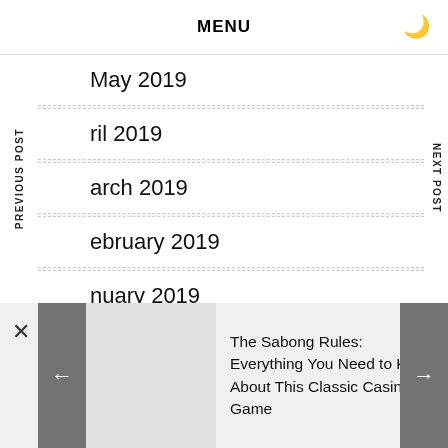MENU
May 2019
April 2019
March 2019
February 2019
January 2019
PREVIOUS POST
NEXT POST
The Sabong Rules: Everything You Need to Know About This Classic Casino Game